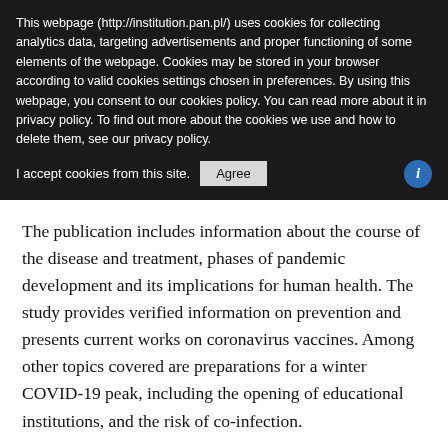This webpage (http://institution.pan.pl/) uses cookies for collecting analytics data, targeting advertisements and proper functioning of some elements of the webpage. Cookies may be stored in your browser according to valid cookies settings chosen in preferences. By using this webpage, you consent to our cookies policy. You can read more about it in privacy policy. To find out more about the cookies we use and how to delete them, see our privacy policy.
I accept cookies from this site.  [Agree]  [i]
The publication includes information about the course of the disease and treatment, phases of pandemic development and its implications for human health. The study provides verified information on prevention and presents current works on coronavirus vaccines. Among other topics covered are preparations for a winter COVID-19 peak, including the opening of educational institutions, and the risk of co-infection.
Attitudes towards the epidemic